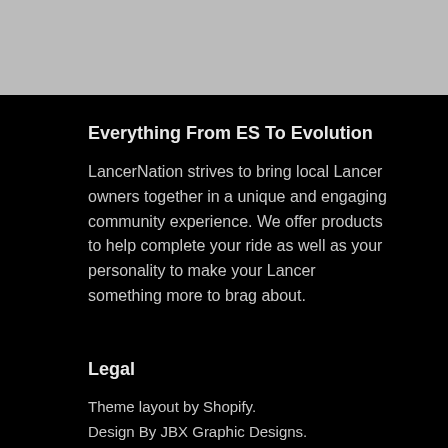[Figure (other): Gray banner/header bar at top of page]
Everything From ES To Evolution
LancerNation strives to bring local Lancer owners together in a unique and engaging community experience. We offer products to help complete your ride as well as your personality to make your Lancer something more to brag about.
Legal
Theme layout by Shopify.
Design By JBX Graphic Designs.
Mitsubishi Logo © Mitsubishi Motors 2022
Images Property of their respective owners and LancerNation.